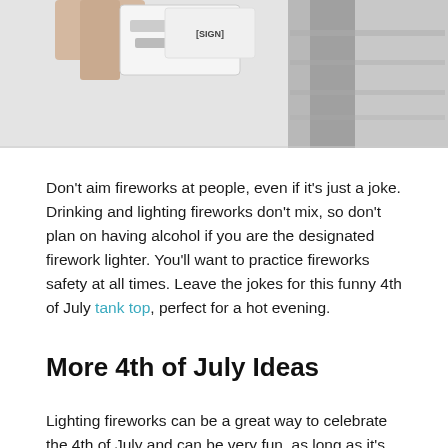[Figure (photo): Top portion of a photo showing hands holding a sign and fabric/clothing items in grey tones]
Don't aim fireworks at people, even if it's just a joke. Drinking and lighting fireworks don't mix, so don't plan on having alcohol if you are the designated firework lighter. You'll want to practice fireworks safety at all times. Leave the jokes for this funny 4th of July tank top, perfect for a hot evening.
More 4th of July Ideas
Lighting fireworks can be a great way to celebrate the 4th of July and can be very fun, as long as it's done safely. Follow the fireworks safety tips...